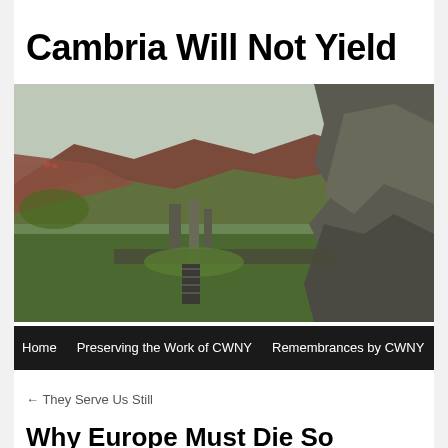Cambria Will Not Yield
[Figure (photo): Landscape photo of ancient castle ruins on rocky cliffs with hillside and green valley in background]
Home   Preserving the Work of CWNY   Remembrances by CWNY
← They Serve Us Still
Why Europe Must Die So Liberalism Can